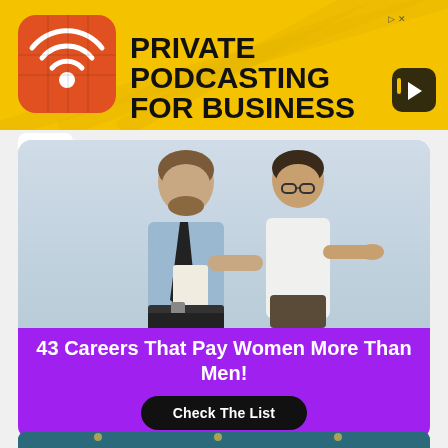[Figure (infographic): Yellow ad banner for Private Podcasting for Business with podcast microphone icon logo]
PRIVATE PODCASTING FOR BUSINESS
[Figure (photo): Man in blue shirt and tie pointing at woman in white blouse who is gesturing with her hand, studio background]
43 Careers That Pay Women More Than Men!
Check The List
[Figure (photo): Bottom teaser strip showing hanging light bulbs on dark teal background]